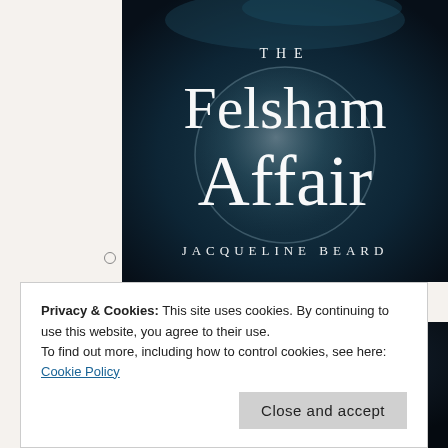[Figure (illustration): Book cover of 'The Felsham Affair' by Jacqueline Beard. Dark teal/blue underwater or atmospheric background with a large crystal ball or globe. Title in large serif white text: THE Felsham Affair. Author name in spaced caps: JACQUELINE BEARD.]
The Felsham Affair
[Figure (illustration): Partial view of a second book cover showing dark background with text 'A LAWRENCE HARPHAM MYSTERY' and partial large white cursive letters at the bottom.]
Privacy & Cookies: This site uses cookies. By continuing to use this website, you agree to their use.
To find out more, including how to control cookies, see here: Cookie Policy